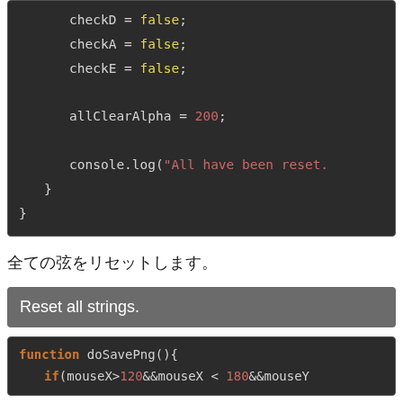[Figure (screenshot): Code block showing checkD = false; checkA = false; checkE = false; allClearAlpha = 200; console.log("All have been reset. closing braces]
全ての弦をリセットします。
Reset all strings.
[Figure (screenshot): Code block showing: function doSavePng(){ if(mouseX>120&&mouseX < 180&&mouseY]